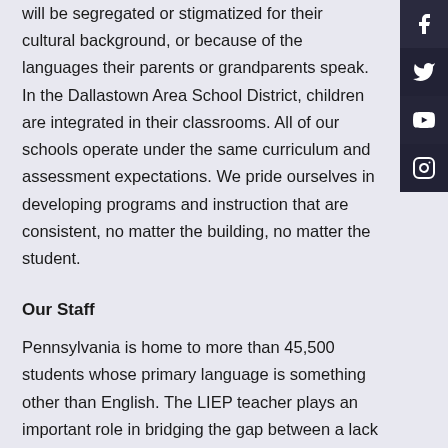will be segregated or stigmatized for their cultural background, or because of the languages their parents or grandparents speak. In the Dallastown Area School District, children are integrated in their classrooms. All of our schools operate under the same curriculum and assessment expectations. We pride ourselves in developing programs and instruction that are consistent, no matter the building, no matter the student.
Our Staff
Pennsylvania is home to more than 45,500 students whose primary language is something other than English. The LIEP teacher plays an important role in bridging the gap between a lack of English proficiency among students and their academic performance, which